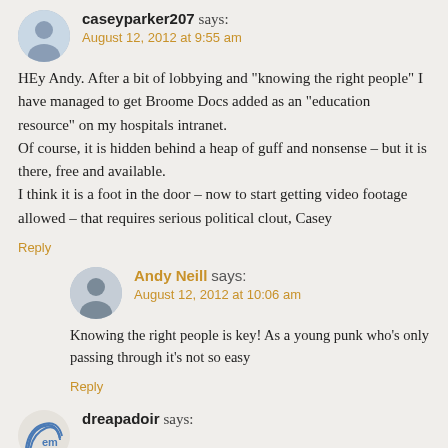caseyparker207 says: August 12, 2012 at 9:55 am
HEy Andy. After a bit of lobbying and "knowing the right people" I have managed to get Broome Docs added as an "education resource" on my hospitals intranet. Of course, it is hidden behind a heap of guff and nonsense – but it is there, free and available. I think it is a foot in the door – now to start getting video footage allowed – that requires serious political clout, Casey
Reply
Andy Neill says: August 12, 2012 at 10:06 am
Knowing the right people is key! As a young punk who's only passing through it's not so easy
Reply
dreapadoir says: